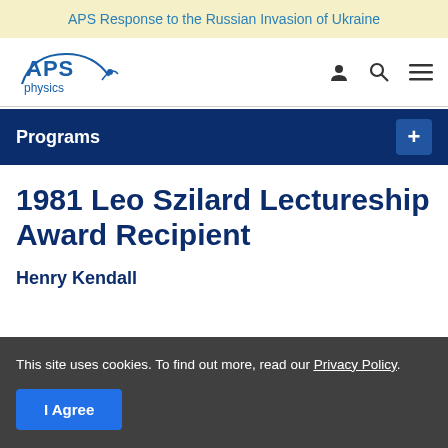APS Response to the Russian Invasion of Ukraine
[Figure (logo): APS Physics logo — arched 'APS' text with 'physics' below and a curved underline/orbit graphic]
Programs
1981 Leo Szilard Lectureship Award Recipient
Henry Kendall
This site uses cookies. To find out more, read our Privacy Policy.